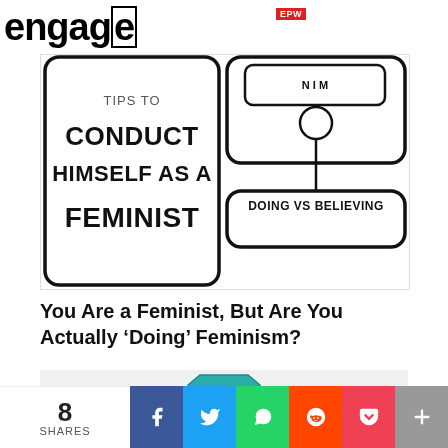EPW engage
[Figure (illustration): Illustration showing text 'CONDUCT HIMSELF AS A FEMINIST' on the left panel and a figure with a speech bubble saying 'DOING VS BELIEVING' on the right panel]
You Are a Feminist, But Are You Actually ‘Doing’ Feminism?
[Figure (illustration): Partial view of a second article image showing a teal/green badge or shield shape]
8 SHARES  [Facebook] [Twitter] [WhatsApp] [Reddit] [Pocket] [More]